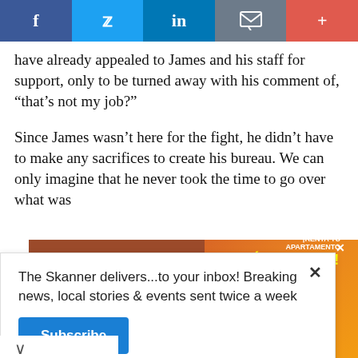[Figure (other): Social media sharing bar with Facebook, Twitter, LinkedIn, Email, and Plus buttons]
have already appealed to James and his staff for support, only to be turned away with his comment of, “that’s not my job?”
Since James wasn’t here for the fight, he didn’t have to make any sacrifices to create his bureau. We can only imagine that he never took the time to go over what was
The Skanner delivers...to your inbox! Breaking news, local stories & events sent twice a week
Subscribe
[Figure (infographic): Advertisement for Sedona Apartments in Houston, TX. Text: RENTA TU APARTAMENTO Y MUDATE HOY! ¡VEN Y VISITANOS. 14402 Pavilion Point, Houston, TX 77083. www.apartments.com. 281-568-4596. 1 Y 2 RECAMARAS.]